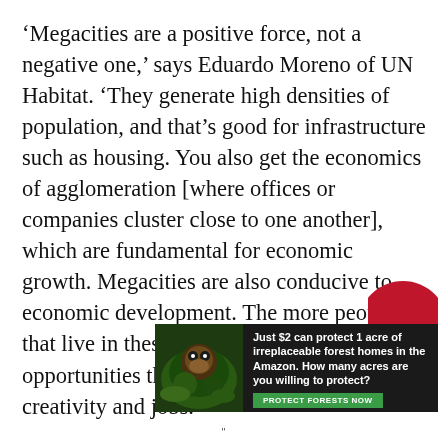‘Megacities are a positive force, not a negative one,’ says Eduardo Moreno of UN Habitat. ‘They generate high densities of population, and that’s good for infrastructure such as housing. You also get the economics of agglomeration [where offices or companies cluster close to one another], which are fundamental for economic growth. Megacities are also conducive to economic development. The more people that live in these cities, the more opportunities there are for innovation, creativity and jobs.’
[Figure (other): Advertisement banner for Amazon forest protection. Dark background with forest/orangutan image on left. Text reads: 'Just $2 can protect 1 acre of irreplaceable forest homes in the Amazon. How many acres are you willing to protect?' with a green 'PROTECT FORESTS NOW' button.]